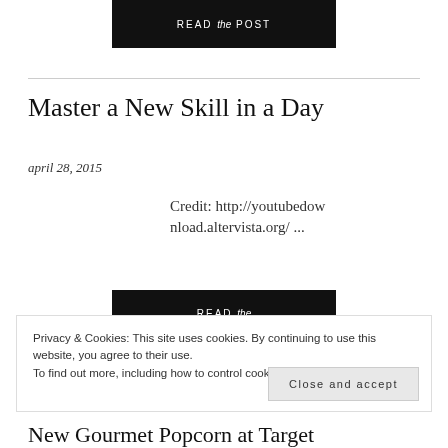[Figure (other): Black button with text READ the POST]
Master a New Skill in a Day
april 28, 2015
Credit: http://youtubedownload.altervista.org/ ...
[Figure (other): Black button with text READ the]
Privacy & Cookies: This site uses cookies. By continuing to use this website, you agree to their use.
To find out more, including how to control cookies, see here: Cookie Policy
Close and accept
New Gourmet Popcorn at Target